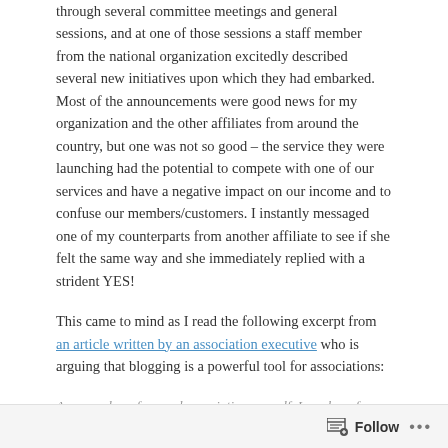through several committee meetings and general sessions, and at one of those sessions a staff member from the national organization excitedly described several new initiatives upon which they had embarked. Most of the announcements were good news for my organization and the other affiliates from around the country, but one was not so good – the service they were launching had the potential to compete with one of our services and have a negative impact on our income and to confuse our members/customers. I instantly messaged one of my counterparts from another affiliate to see if she felt the same way and she immediately replied with a strident YES!
This came to mind as I read the following excerpt from an article written by an association executive who is arguing that blogging is a powerful tool for associations:
As a member of several associations myself, I much prefer an
Follow